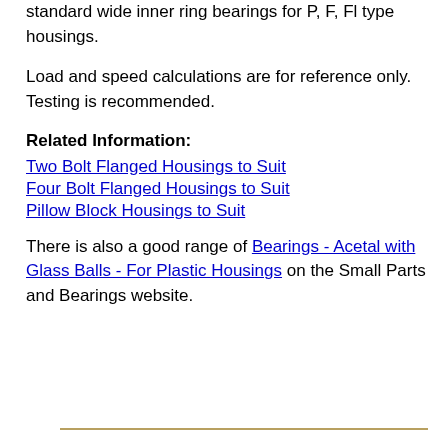standard wide inner ring bearings for P, F, Fl type housings.
Load and speed calculations are for reference only. Testing is recommended.
Related Information:
Two Bolt Flanged Housings to Suit
Four Bolt Flanged Housings to Suit
Pillow Block Housings to Suit
There is also a good range of Bearings - Acetal with Glass Balls - For Plastic Housings on the Small Parts and Bearings website.